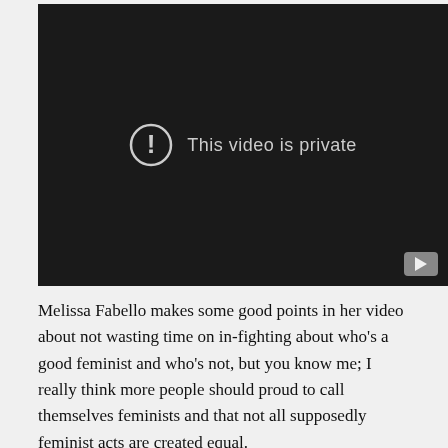[Figure (screenshot): A video player showing a private video message. Dark background with a circle exclamation icon and text 'This video is private'. YouTube logo/play button in bottom right corner.]
Melissa Fabello makes some good points in her video about not wasting time on in-fighting about who's a good feminist and who's not, but you know me; I really think more people should proud to call themselves feminists and that not all supposedly feminist acts are created equal.